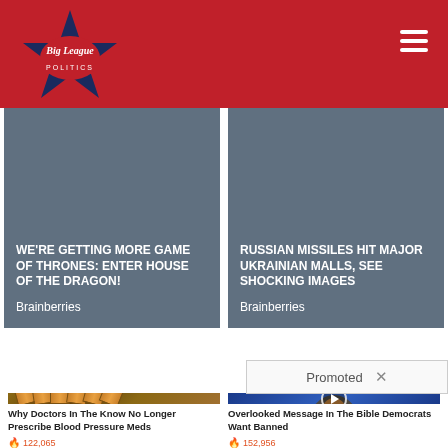[Figure (logo): Big League Politics logo — star badge with red and blue design]
[Figure (infographic): Ad card: WE'RE GETTING MORE GAME OF THRONES: ENTER HOUSE OF THE DRAGON! — Brainberries]
[Figure (infographic): Ad card: RUSSIAN MISSILES HIT MAJOR UKRAINIAN MALLS, SEE SHOCKING IMAGES — Brainberries]
Promoted
[Figure (photo): Pill bottles arranged in a row — advertisement for blood pressure medication article]
Why Doctors In The Know No Longer Prescribe Blood Pressure Meds
122,065
[Figure (photo): Man speaking at podium with blue background — video thumbnail with play button]
Overlooked Message In The Bible Democrats Want Banned
152,956